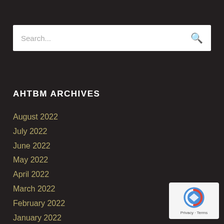[Figure (screenshot): Search bar with placeholder text 'Search...' and a magnifying glass icon on the right]
AHTBM ARCHIVES
August 2022
July 2022
June 2022
May 2022
April 2022
March 2022
February 2022
January 2022
December 2021
[Figure (logo): Google reCAPTCHA badge with Privacy and Terms links]